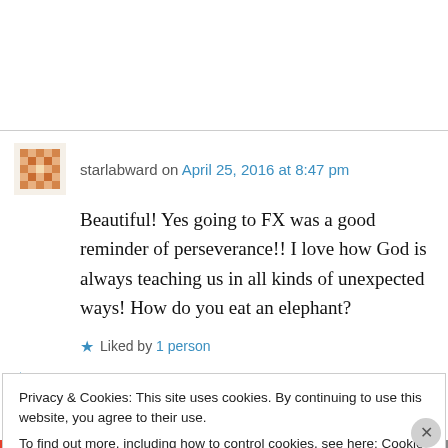starlabward on April 25, 2016 at 8:47 pm
Beautiful! Yes going to FX was a good reminder of perseverance!! I love how God is always teaching us in all kinds of unexpected ways! How do you eat an elephant?
★ Liked by 1 person
↩ Reply
Privacy & Cookies: This site uses cookies. By continuing to use this website, you agree to their use.
To find out more, including how to control cookies, see here: Cookie Policy